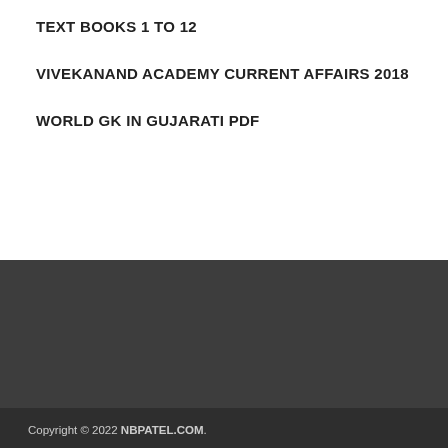TEXT BOOKS 1 TO 12
VIVEKANAND ACADEMY CURRENT AFFAIRS 2018
WORLD GK IN GUJARATI PDF
Copyright © 2022 NBPATEL.COM. Powered by WordPress and HitMag.